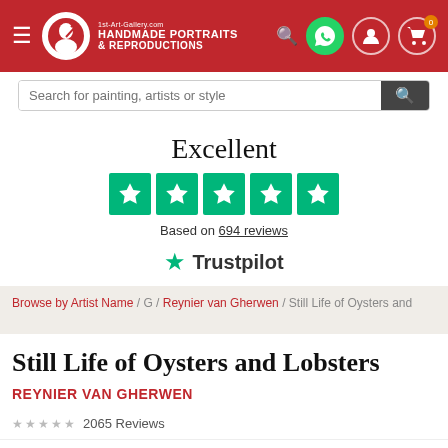[Figure (screenshot): Website header with red background showing 1st-Art-Gallery.com logo, hamburger menu, search icon, WhatsApp icon, user icon, and cart icon with badge 0]
Search for painting, artists or style
[Figure (logo): Trustpilot rating section showing Excellent with 5 green stars and text: Based on 694 reviews, Trustpilot logo]
Browse by Artist Name / G / Reynier van Gherwen / Still Life of Oysters and
Still Life of Oysters and Lobsters
REYNIER VAN GHERWEN
2065 Reviews